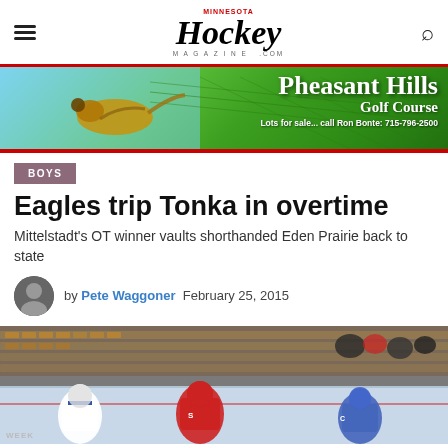Minnesota Hockey Magazine
[Figure (photo): Pheasant Hills Golf Course advertisement banner with pheasant bird and green golf course background. Text: Pheasant Hills Golf Course. Lots for sale... call Ron Bonte: 715-796-2500]
BOYS
Eagles trip Tonka in overtime
Mittelstadt's OT winner vaults shorthanded Eden Prairie back to state
by Pete Waggoner  February 25, 2015
[Figure (photo): Hockey game action photo showing players on ice, some in white and blue jerseys, others in red and white. Arena seating visible in background with spectators.]